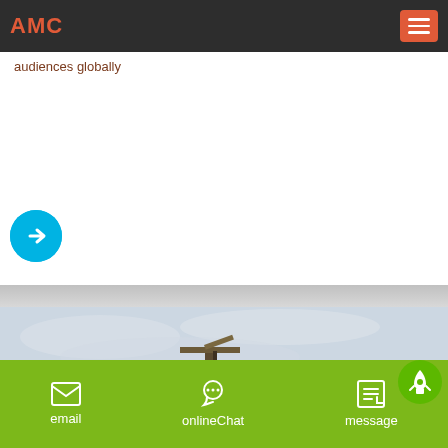AMC
audiences globally
[Figure (illustration): Cyan circle with white right-arrow icon, navigation button]
[Figure (photo): Construction crane against overcast sky, partly visible at bottom of image]
[Figure (illustration): Green circle with white rocket icon, scroll-to-top button]
email  onlineChat  message